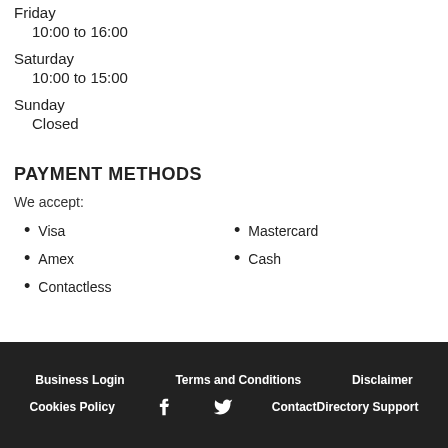Friday
10:00 to 16:00
Saturday
10:00 to 15:00
Sunday
Closed
PAYMENT METHODS
We accept:
Visa
Amex
Contactless
Mastercard
Cash
Business Login   Terms and Conditions   Disclaimer   Cookies Policy   ContactDirectory Support